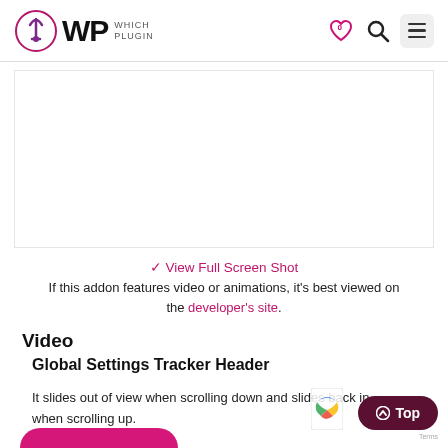WP Which Plugin
[Figure (screenshot): White/blank screenshot placeholder area]
✓ View Full Screen Shot
If this addon features video or animations, it's best viewed on the developer's site.
Video
Global Settings Tracker Header
It slides out of view when scrolling down and slides back in when scrolling up.